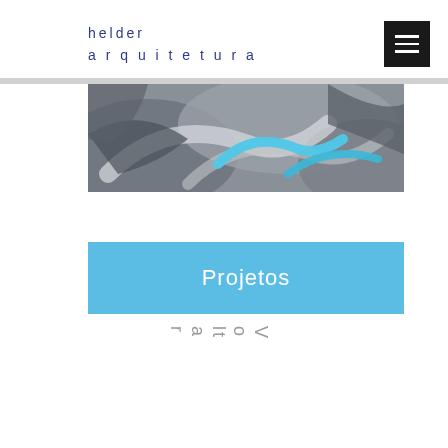helder arquitetura
[Figure (photo): Abstract painting with swirling shapes in grey, white, and cyan/turquoise colors]
Projetos
Voltar